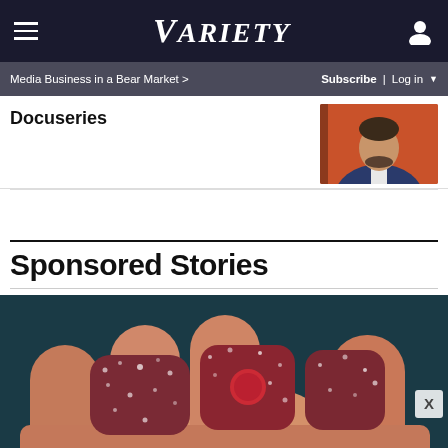VARIETY
Media Business in a Bear Market >    Subscribe | Log in
Docuseries
[Figure (photo): Man in dark suit jacket and white shirt against orange background]
Sponsored Stories
[Figure (photo): Close-up of sugared gummy candy pieces held in a hand against dark teal background]
[Figure (advertisement): Yellow advertisement banner: ADJUSTABLE DUMBBELLS SPY TESTED & REVIEWED with SPY logo]